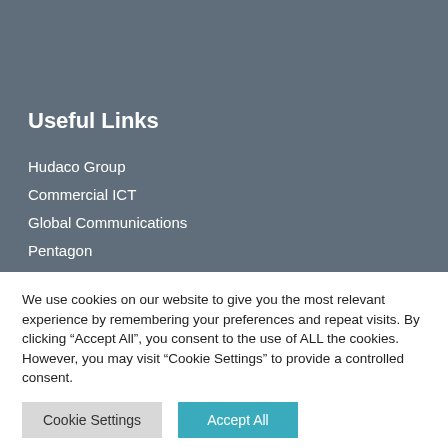Useful Links
Hudaco Group
Commercial ICT
Global Communications
Pentagon
Miro
We use cookies on our website to give you the most relevant experience by remembering your preferences and repeat visits. By clicking “Accept All”, you consent to the use of ALL the cookies. However, you may visit "Cookie Settings" to provide a controlled consent.